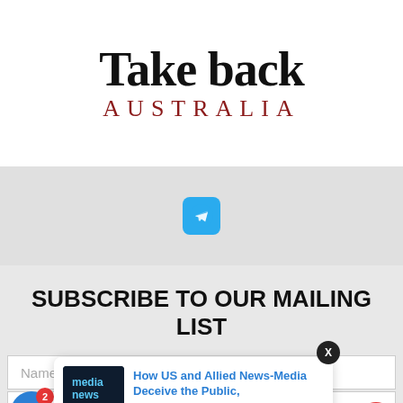[Figure (logo): Take back AUSTRALIA logo - black serif bold text 'Take back' above red spaced uppercase 'AUSTRALIA']
[Figure (infographic): Telegram icon button - blue rounded square with white paper plane icon]
SUBSCRIBE TO OUR MAILING LIST
[Figure (screenshot): Web form with Name and Email input fields, notification bell icon with badge '2', notification popup showing media news thumbnail with text 'How US and Allied News-Media Deceive the Public, 1 day ago', close X button, and red badge partially visible]
How US and Allied News-Media Deceive the Public,
1 day ago